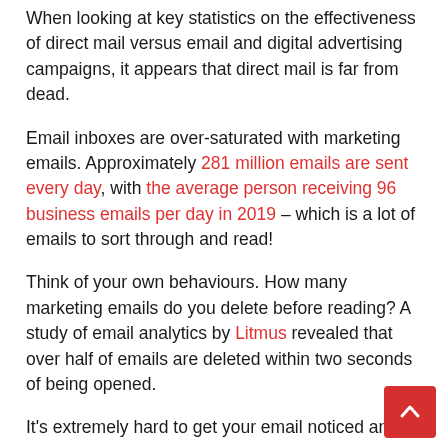When looking at key statistics on the effectiveness of direct mail versus email and digital advertising campaigns, it appears that direct mail is far from dead.
Email inboxes are over-saturated with marketing emails. Approximately 281 million emails are sent every day, with the average person receiving 96 business emails per day in 2019 – which is a lot of emails to sort through and read!
Think of your own behaviours. How many marketing emails do you delete before reading? A study of email analytics by Litmus revealed that over half of emails are deleted within two seconds of being opened.
It's extremely hard to get your email noticed and to